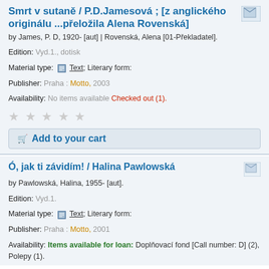Smrt v sutaně / P.D.Jamesová ; [z anglického originálu ...přeložila Alena Rovenská]
by James, P. D, 1920- [aut] | Rovenská, Alena [01-Překladatel].
Edition: Vyd.1., dotisk
Material type: Text; Literary form:
Publisher: Praha : Motto, 2003
Availability: No items available Checked out (1).
Add to your cart
Ó, jak ti závidím! / Halina Pawlowská
by Pawlowská, Halina, 1955- [aut].
Edition: Vyd.1.
Material type: Text; Literary form:
Publisher: Praha : Motto, 2001
Availability: Items available for loan: Doplňovací fond [Call number: D] (2), Polepy (1).